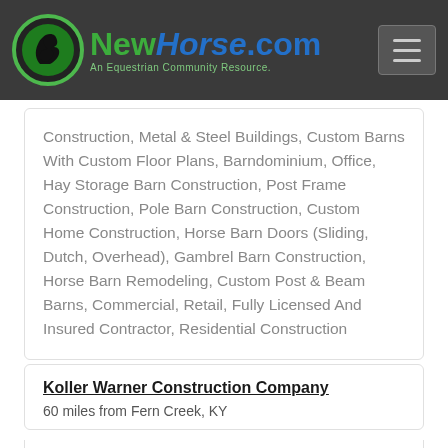[Figure (logo): NewHorse.com logo with horse head icon and tagline 'An Equestrian Community Resource.']
Construction, Metal & Steel Buildings, Custom Barns With Custom Floor Plans, Barndominium, Office, Hay Storage Barn Construction, Post Frame Construction, Pole Barn Construction, Custom Home Construction, Horse Barn Doors (Sliding, Dutch, Overhead), Gambrel Barn Construction, Horse Barn Remodeling, Custom Post & Beam Barns, Commercial, Retail, Fully Licensed And Insured Contractor, Residential Construction
Koller Warner Construction Company
60 miles from Fern Creek, KY
we are the premier horse barn, equine and indoor arena builders in the mid west, quality quality quality